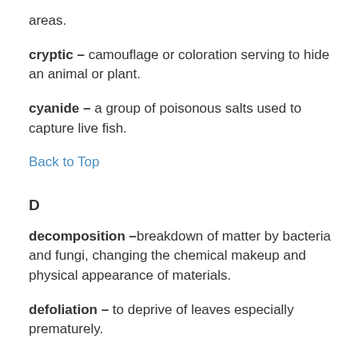areas.
cryptic – camouflage or coloration serving to hide an animal or plant.
cyanide – a group of poisonous salts used to capture live fish.
Back to Top
D
decomposition –breakdown of matter by bacteria and fungi, changing the chemical makeup and physical appearance of materials.
defoliation – to deprive of leaves especially prematurely.
desiccation – removal of moisture, drying out.